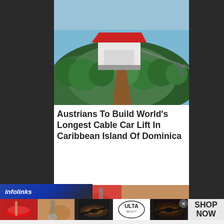[Figure (photo): Aerial rendering of a cable car station or pavilion with red roof surrounded by tropical jungle/forest, with cable car infrastructure visible]
Austrians To Build World’s Longest Cable Car Lift In Caribbean Island Of Dominica
[Figure (photo): Partial view of a woman with red/orange tones - bottom of second article image]
[Figure (infographic): Infolinks advertisement bar with Ulta Beauty ads showing makeup images and SHOP NOW call to action]